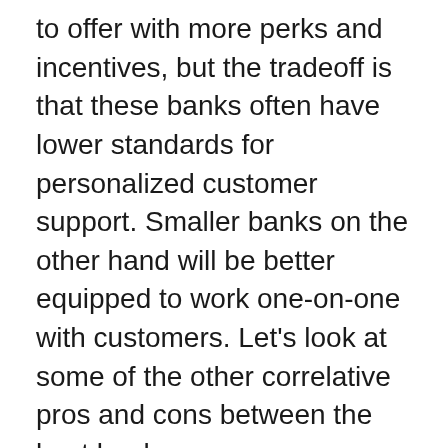to offer with more perks and incentives, but the tradeoff is that these banks often have lower standards for personalized customer support. Smaller banks on the other hand will be better equipped to work one-on-one with customers. Let's look at some of the other correlative pros and cons between the best banks.
Brick and Mortar Offerings V. Number of Branch Offerings
There is a typical give-and-take in